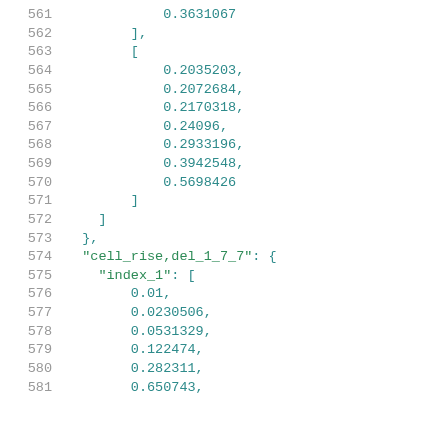561    0.3631067
562    ],
563    [
564        0.2035203,
565        0.2072684,
566        0.2170318,
567        0.24096,
568        0.2933196,
569        0.3942548,
570        0.5698426
571    ]
572  ]
573  },
574  "cell_rise,del_1_7_7": {
575    "index_1": [
576        0.01,
577        0.0230506,
578        0.0531329,
579        0.122474,
580        0.282311,
581        0.650743,